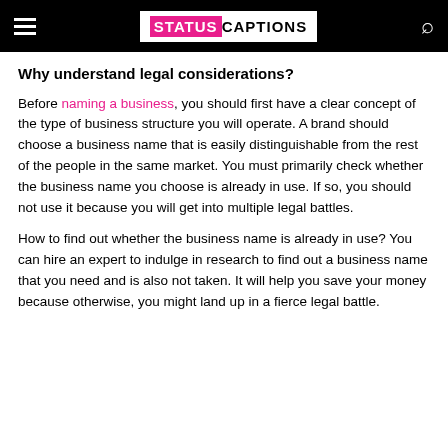STATUS CAPTIONS
Why understand legal considerations?
Before naming a business, you should first have a clear concept of the type of business structure you will operate. A brand should choose a business name that is easily distinguishable from the rest of the people in the same market. You must primarily check whether the business name you choose is already in use. If so, you should not use it because you will get into multiple legal battles.
How to find out whether the business name is already in use? You can hire an expert to indulge in research to find out a business name that you need and is also not taken. It will help you save your money because otherwise, you might land up in a fierce legal battle.